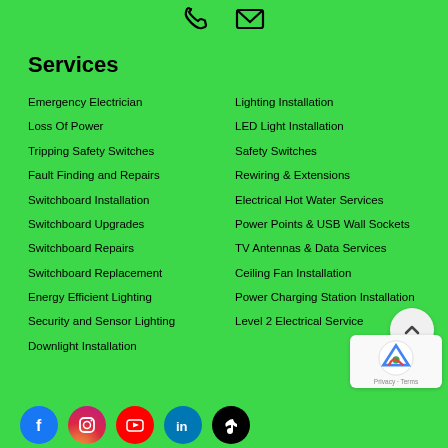[Figure (illustration): Phone and email icons at the top center]
Services
Emergency Electrician
Lighting Installation
Loss Of Power
LED Light Installation
Tripping Safety Switches
Safety Switches
Fault Finding and Repairs
Rewiring & Extensions
Switchboard Installation
Electrical Hot Water Services
Switchboard Upgrades
Power Points & USB Wall Sockets
Switchboard Repairs
TV Antennas & Data Services
Switchboard Replacement
Ceiling Fan Installation
Energy Efficient Lighting
Power Charging Station Installation
Security and Sensor Lighting
Level 2 Electrical Service
Downlight Installation
[Figure (illustration): Social media icons: Facebook, Instagram, YouTube, LinkedIn, TikTok]